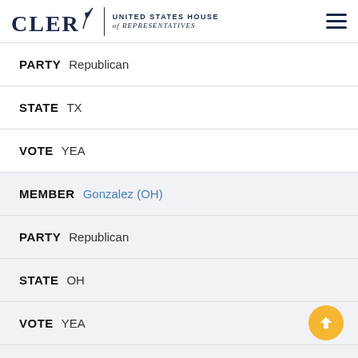CLERK United States House of Representatives
PARTY Republican
STATE TX
VOTE YEA
MEMBER Gonzalez (OH)
PARTY Republican
STATE OH
VOTE YEA
MEMBER Gonzalez, Vicente